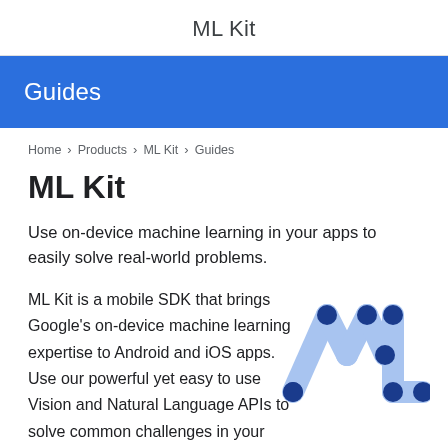ML Kit
Guides
Home > Products > ML Kit > Guides
ML Kit
Use on-device machine learning in your apps to easily solve real-world problems.
ML Kit is a mobile SDK that brings Google's on-device machine learning expertise to Android and iOS apps. Use our powerful yet easy to use Vision and Natural Language APIs to solve common challenges in your apps or create brand-new user experiences. All are powered by Google's best-in-
[Figure (logo): ML Kit logo showing stylized 'ML' letters in blue tones with dark navy circular endpoints on diagonal strokes forming the letters M and L]